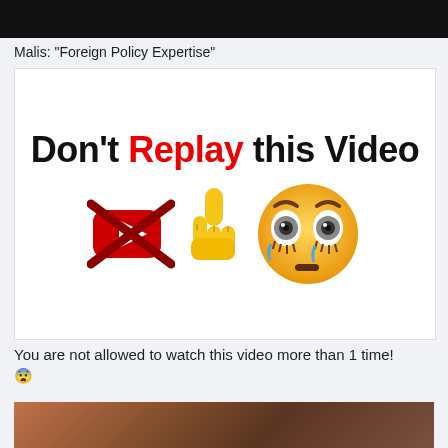[Figure (screenshot): Black bar at top of social media post]
Malis: "Foreign Policy Expertise"
[Figure (illustration): Meme image with text 'Don't Replay this Video', a crossed-out YouTube logo, a pointing finger emoji, and a shocked/wide-eyed emoji face]
You are not allowed to watch this video more than 1 time! 😨
[Figure (photo): Bottom portion of a photo showing a person, partially visible]